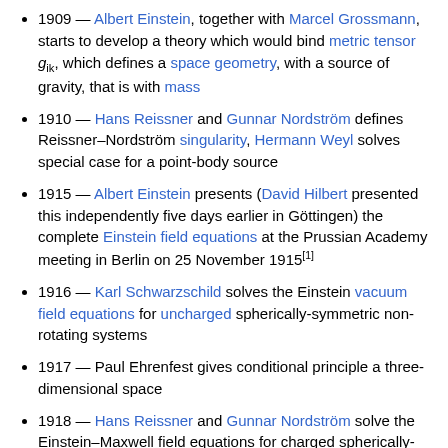1909 — Albert Einstein, together with Marcel Grossmann, starts to develop a theory which would bind metric tensor g_ik, which defines a space geometry, with a source of gravity, that is with mass
1910 — Hans Reissner and Gunnar Nordström defines Reissner–Nordström singularity, Hermann Weyl solves special case for a point-body source
1915 — Albert Einstein presents (David Hilbert presented this independently five days earlier in Göttingen) the complete Einstein field equations at the Prussian Academy meeting in Berlin on 25 November 1915[1]
1916 — Karl Schwarzschild solves the Einstein vacuum field equations for uncharged spherically-symmetric non-rotating systems
1917 — Paul Ehrenfest gives conditional principle a three-dimensional space
1918 — Hans Reissner and Gunnar Nordström solve the Einstein–Maxwell field equations for charged spherically-symmetric non-rotating systems